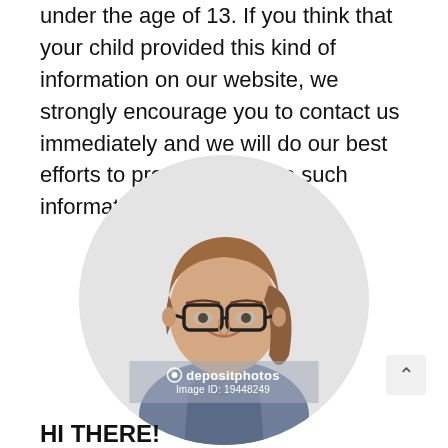under the age of 13. If you think that your child provided this kind of information on our website, we strongly encourage you to contact us immediately and we will do our best efforts to promptly remove such information from our records.
[Figure (photo): Circular cropped photo of a woman with glasses and brown hair pulled back, wearing a grey shirt, smiling. Depositphotos watermark overlay with Image ID: 19448249.]
HI THERE!